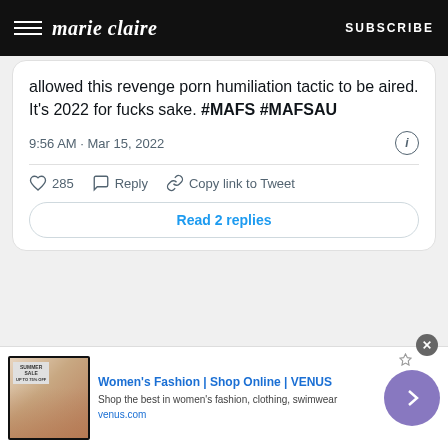marie claire  SUBSCRIBE
allowed this revenge porn humiliation tactic to be aired. It's 2022 for fucks sake. #MAFS #MAFSAU
9:56 AM · Mar 15, 2022
285  Reply  Copy link to Tweet
Read 2 replies
[Figure (screenshot): Advertisement banner for Women's Fashion Shop Online VENUS with thumbnail image showing a Summer Sale promotion, ad text reading 'Women's Fashion | Shop Online | VENUS', 'Shop the best in women's fashion, clothing, swimwear', 'venus.com', with a purple circular arrow button on the right.]